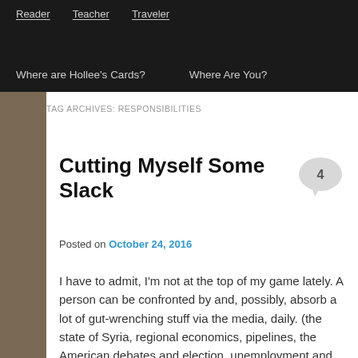Reader   Teacher   Traveler
Where are Hollee's Cards?   Where Are You?
TAG ARCHIVES: RESPONSIBILITIES
Cutting Myself Some Slack
Posted on October 24, 2016
I have to admit, I'm not at the top of my game lately.  A person can be confronted by and, possibly, absorb a lot of gut-wrenching stuff via the media, daily. (the state of Syria, regional economics, pipelines, the American debates and election, unemployment and the economy, involvement of Russia in global agitation, the status of North Korea regarding armaments, the state of our environment and the care for dwindling species…these are just a few concerning factors that spewed out the tips